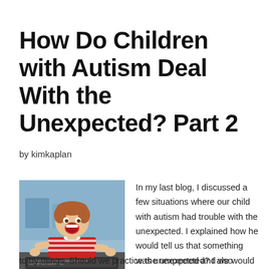How Do Children with Autism Deal With the Unexpected? Part 2
by kimkaplan
[Figure (photo): Young child with mouth open wide, sitting at a keyboard, wearing a red and white striped shirt, with a blue background]
In my last blog, I discussed a few situations where our child with autism had trouble with the unexpected. I explained how he would tell us that something was unexpected and we would talk to him and usually get him to try things. Should we practice the unexpected? I also